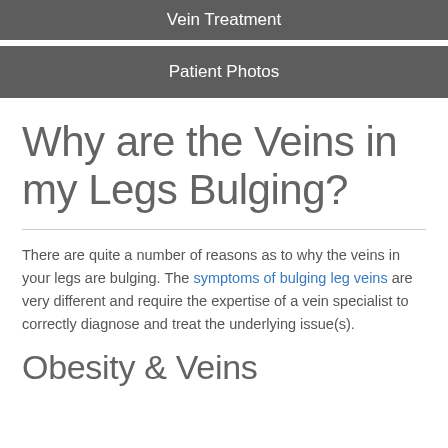Vein Treatment
Patient Photos
Why are the Veins in my Legs Bulging?
There are quite a number of reasons as to why the veins in your legs are bulging. The symptoms of bulging leg veins are very different and require the expertise of a vein specialist to correctly diagnose and treat the underlying issue(s).
Obesity & Veins